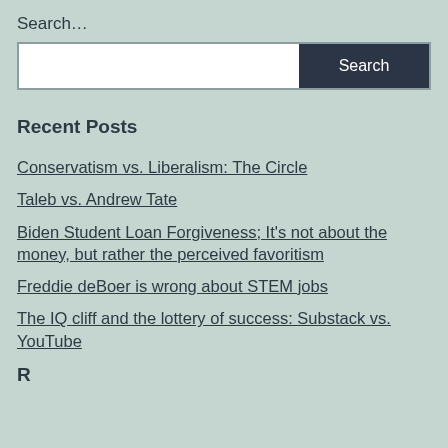Search…
Recent Posts
Conservatism vs. Liberalism: The Circle
Taleb vs. Andrew Tate
Biden Student Loan Forgiveness; It's not about the money, but rather the perceived favoritism
Freddie deBoer is wrong about STEM jobs
The IQ cliff and the lottery of success: Substack vs. YouTube